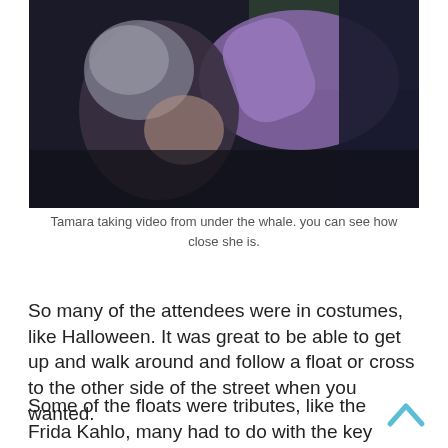[Figure (photo): A close-up photo showing a person with grey hair and a person in a purple/lavender top, appearing to be in a crowd under dim/dark lighting.]
Tamara taking video from under the whale. you can see how close she is.
So many of the attendees were in costumes, like Halloween. It was great to be able to get up and walk around and follow a float or cross to the other side of the street when you wanted.
Some of the floats were tributes, like the Frida Kahlo, many had to do with the key issues of our times: the environment, bullying, and of course, politics. There were two large-sized Trump floats